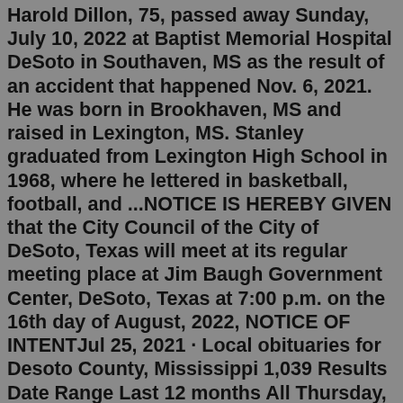Harold Dillon, 75, passed away Sunday, July 10, 2022 at Baptist Memorial Hospital DeSoto in Southaven, MS as the result of an accident that happened Nov. 6, 2021. He was born in Brookhaven, MS and raised in Lexington, MS. Stanley graduated from Lexington High School in 1968, where he lettered in basketball, football, and ...NOTICE IS HEREBY GIVEN that the City Council of the City of DeSoto, Texas will meet at its regular meeting place at Jim Baugh Government Center, DeSoto, Texas at 7:00 p.m. on the 16th day of August, 2022, NOTICE OF INTENTJul 25, 2021 · Local obituaries for Desoto County, Mississippi 1,039 Results Date Range Last 12 months All Thursday, July 28, 2022 Lucille Dygert Ella Lucille Dygert, 95, of Olive Branch, MS went to be with the... Forrest County reports 187 new COVID cases; Mississippi cases surge 23.3%. Mike Stucka USA TODAY NETWORK. 0:04. 1:04. New coronavirus cases leaped in Mississippi in the week ending Sunday, rising ...Desoto County / Lake Cormorant. Lake Cormorant, Mississippi Obituaries . Get Updates.